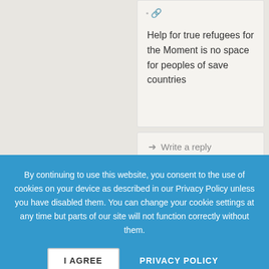Help for true refugees for the Moment is no space for peoples of save countries
Write a reply
Gabriella Horváth · September 30th, 2015 · 🔗
Ezt a butaságot ki mondta neked? Nem
By continuing to use this website, you consent to the use of cookies on your device as described in our Privacy Policy unless you have disabled them. You can change your cookie settings at any time but parts of our site will not function correctly without them.
I AGREE
PRIVACY POLICY